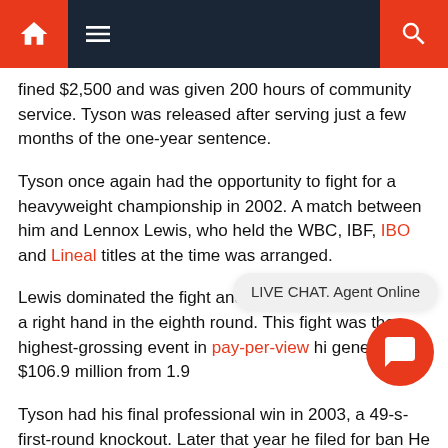Navigation bar with home, menu, and search icons
fined $2,500 and was given 200 hours of community service. Tyson was released after serving just a few months of the one-year sentence.
Tyson once again had the opportunity to fight for a heavyweight championship in 2002. A match between him and Lennox Lewis, who held the WBC, IBF, IBO and Lineal titles at the time was arranged.
Lewis dominated the fight and knocked out Tyson with a right hand in the eighth round. This fight was the highest-grossing event in pay-per-view hi... generating $106.9 million from 1.9...
Tyson had his final professional win in 2003, a 49-s... first-round knockout. Later that year he filed for ban... He claimed to be $34 million in debt after earning an